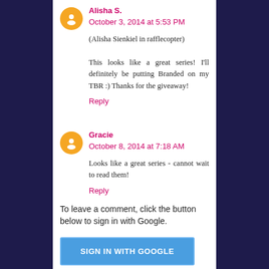Alisha S. October 3, 2014 at 5:53 PM
(Alisha Sienkiel in rafflecopter)

This looks like a great series! I'll definitely be putting Branded on my TBR :) Thanks for the giveaway!
Reply
Gracie October 8, 2014 at 7:18 AM
Looks like a great series - cannot wait to read them!
Reply
To leave a comment, click the button below to sign in with Google.
SIGN IN WITH GOOGLE
Note: